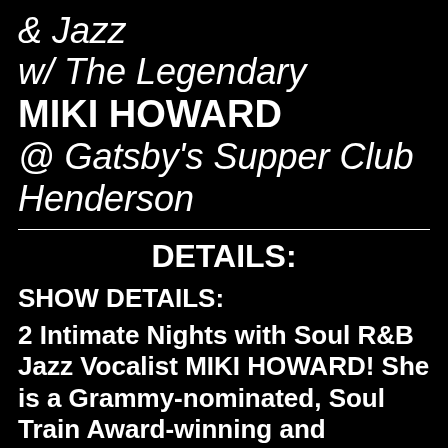& Jazz
w/ The Legendary
MIKI HOWARD
@ Gatsby's Supper Club
Henderson
DETAILS:
SHOW DETAILS:
2 Intimate Nights with Soul R&B Jazz Vocalist MIKI HOWARD! She is a Grammy-nominated, Soul Train Award-winning and critically acclaimed Jazz and Rhythm & Blues songstress